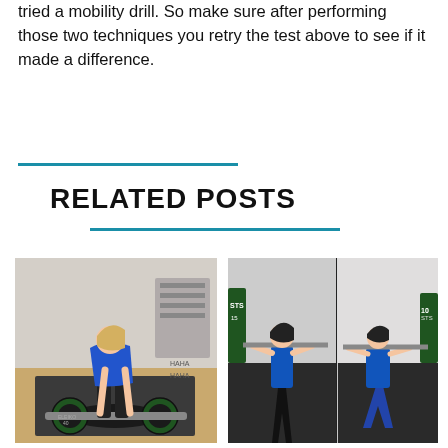tried a mobility drill. So make sure after performing those two techniques you retry the test above to see if it made a difference.
RELATED POSTS
[Figure (photo): Woman in blue shirt performing a deadlift with a barbell in a gym]
[Figure (photo): Two people side by side performing barbell back squats in a gym]